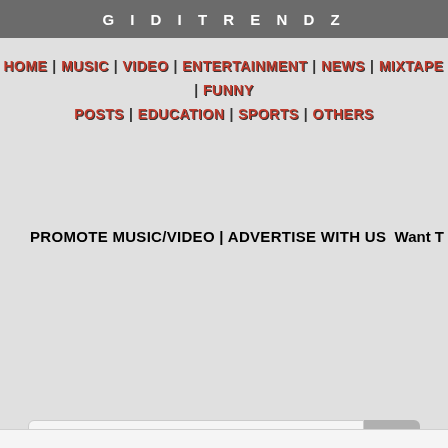GIDITRENDZ
HOME | MUSIC | VIDEO | ENTERTAINMENT | NEWS | MIXTAPE | FUNNY POSTS | EDUCATION | SPORTS | OTHERS
PROMOTE MUSIC/VIDEO | ADVERTISE WITH US
Want T
Search GidiTrendz GO